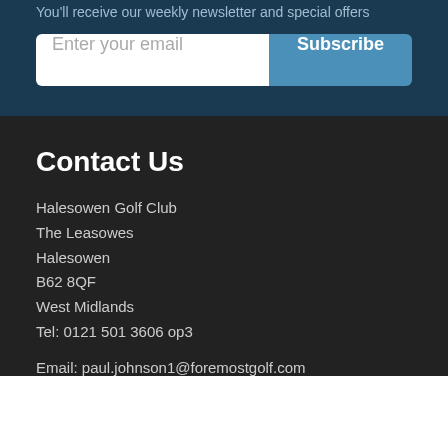You'll receive our weekly newsletter and special offers
[Figure (other): Email subscription form with text input field and Subscribe button]
Contact Us
Halesowen Golf Club
The Leasowes
Halesowen
B62 8QF
West Midlands
Tel: 0121 501 3606 op3
Email: paul.johnson1@foremostgolf.com